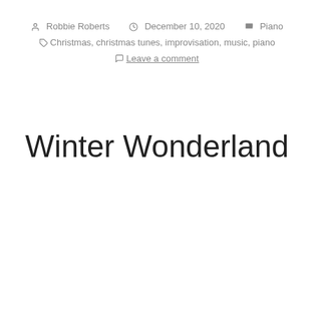Robbie Roberts  December 10, 2020  Piano
Christmas, christmas tunes, improvisation, music, piano
Leave a comment
Winter Wonderland